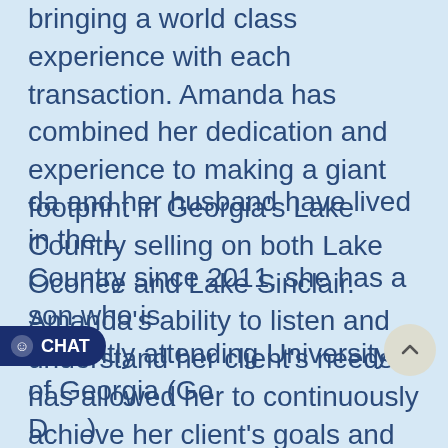bringing a world class experience with each transaction. Amanda has combined her dedication and experience to making a giant footprint in Georgia's Lake Country selling on both Lake Oconee and Lake Sinclair. Amanda's ability to listen and understand her client's needs has allowed her to continuously achieve her client's goals and expectations. Her personable and professional character allows Amanda to build and maintain solid relationships, allowing for long-term relationships and growth of her business.
Amanda and her husband have lived in the Lake Country since 2011, she has a son who is currently attending University of Georgia (Go Dawgs) and a daughter who is special...